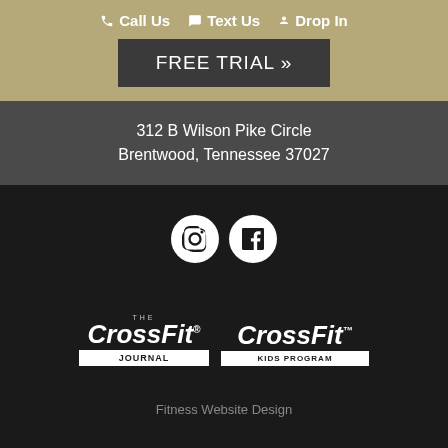Call Us  Text Us  Drop In
FREE TRIAL »
312 B Wilson Pike Circle
Brentwood, Tennessee 37027
[Figure (logo): Instagram and Facebook social media icons (white circles with black icons)]
[Figure (logo): The CrossFit Journal logo and CrossFit Kids Program logo, both in white on dark background]
Fitness Website Design